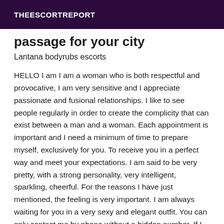THEESCORTREPORT
passage for your city
Lantana bodyrubs escorts
HELLO I am I am a woman who is both respectful and provocative, I am very sensitive and I appreciate passionate and fusional relationships. I like to see people regularly in order to create the complicity that can exist between a man and a woman. Each appointment is important and I need a minimum of time to prepare myself, exclusively for you. To receive you in a perfect way and meet your expectations. I am said to be very pretty, with a strong personality, very intelligent, sparkling, cheerful. For the reasons I have just mentioned, the feeling is very important. I am always waiting for you in a very sexy and elegant outfit. You can only contact me by phone without a hidden number. If I don't answer you immediately it's because I'm busy. I never answer when I am busy. But be assured and be